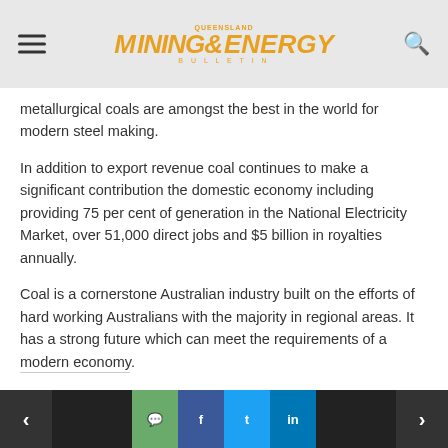Queensland Mining & Energy Bulletin
metallurgical coals are amongst the best in the world for modern steel making.
In addition to export revenue coal continues to make a significant contribution the domestic economy including providing 75 per cent of generation in the National Electricity Market, over 51,000 direct jobs and $5 billion in royalties annually.
Coal is a cornerstone Australian industry built on the efforts of hard working Australians with the majority in regional areas. It has a strong future which can meet the requirements of a modern economy.
Navigation and social sharing bar